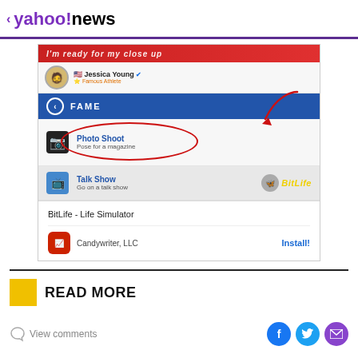< yahoo!news
[Figure (screenshot): Screenshot of the BitLife mobile game app showing a character named Jessica Young (Famous Athlete) with a FAME menu. Photo Shoot option is circled in red with a red arrow pointing to it. Below is a Talk Show option with the BitLife logo. An advertisement for BitLife - Life Simulator by Candywriter, LLC with an Install button is shown.]
READ MORE
View comments
Social share icons: Facebook, Twitter, Mail